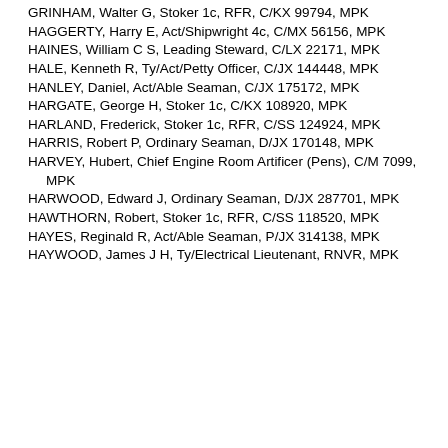GRINHAM, Walter G, Stoker 1c, RFR, C/KX 99794, MPK
HAGGERTY, Harry E, Act/Shipwright 4c, C/MX 56156, MPK
HAINES, William C S, Leading Steward, C/LX 22171, MPK
HALE, Kenneth R, Ty/Act/Petty Officer, C/JX 144448, MPK
HANLEY, Daniel, Act/Able Seaman, C/JX 175172, MPK
HARGATE, George H, Stoker 1c, C/KX 108920, MPK
HARLAND, Frederick, Stoker 1c, RFR, C/SS 124924, MPK
HARRIS, Robert P, Ordinary Seaman, D/JX 170148, MPK
HARVEY, Hubert, Chief Engine Room Artificer (Pens), C/M 7099, MPK
HARWOOD, Edward J, Ordinary Seaman, D/JX 287701, MPK
HAWTHORN, Robert, Stoker 1c, RFR, C/SS 118520, MPK
HAYES, Reginald R, Act/Able Seaman, P/JX 314138, MPK
HAYWOOD, James J H, Ty/Electrical Lieutenant, RNVR, MPK